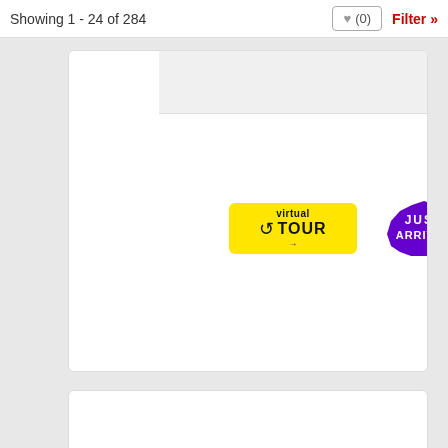Showing 1 - 24 of 284  ♥ (0)  Filter »
[Figure (screenshot): Top listing card with a light grey bar section and two badges: a yellow 'virtual TOUR' badge with arrow, and a purple star-burst 'JUST ARRIVED' badge]
[Figure (screenshot): Bottom listing card showing a grey camera placeholder icon indicating no photo available]